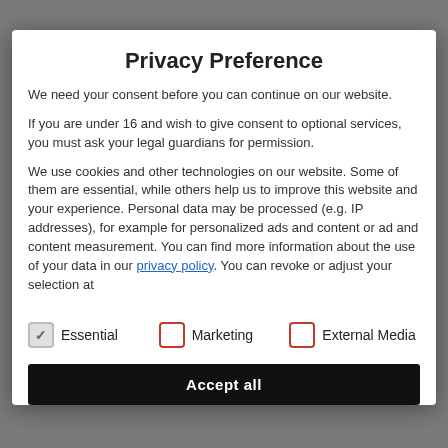Privacy Preference
We need your consent before you can continue on our website.
If you are under 16 and wish to give consent to optional services, you must ask your legal guardians for permission.
We use cookies and other technologies on our website. Some of them are essential, while others help us to improve this website and your experience. Personal data may be processed (e.g. IP addresses), for example for personalized ads and content or ad and content measurement. You can find more information about the use of your data in our privacy policy. You can revoke or adjust your selection at
Essential (checked)
Marketing (unchecked)
External Media (unchecked)
Accept all